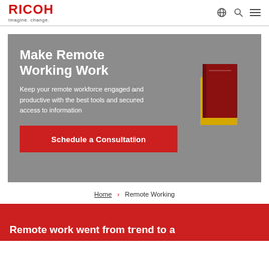RICOH imagine. change.
Make Remote Working Work
Keep your remote workforce engaged and productive with the best tools and secured access to information
Schedule a Consultation
Home > Remote Working
Remote work went from trend to a